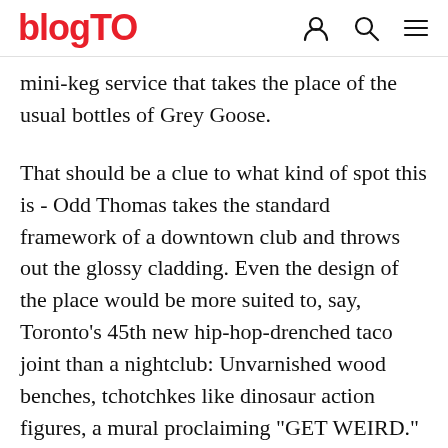blogTO
mini-keg service that takes the place of the usual bottles of Grey Goose.
That should be a clue to what kind of spot this is - Odd Thomas takes the standard framework of a downtown club and throws out the glossy cladding. Even the design of the place would be more suited to, say, Toronto's 45th new hip-hop-drenched taco joint than a nightclub: Unvarnished wood benches, tchotchkes like dinosaur action figures, a mural proclaiming "GET WEIRD."
Odd Thomas' beer cred looks solid, thanks to a healthy 12 taps with selections like Collective Arts Saint of Sinner, and Lake of Bays Coach House (Burni...